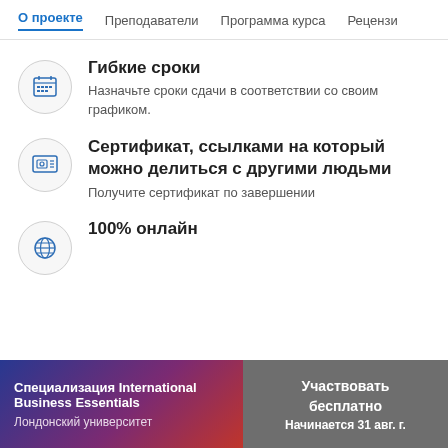О проекте  Преподаватели  Программа курса  Рецензии
Гибкие сроки
Назначьте сроки сдачи в соответствии со своим графиком.
Сертификат, ссылками на который можно делиться с другими людьми
Получите сертификат по завершении
100% онлайн
Специализация International Business Essentials
Лондонский университет
Участвовать бесплатно Начинается 31 авг. г.